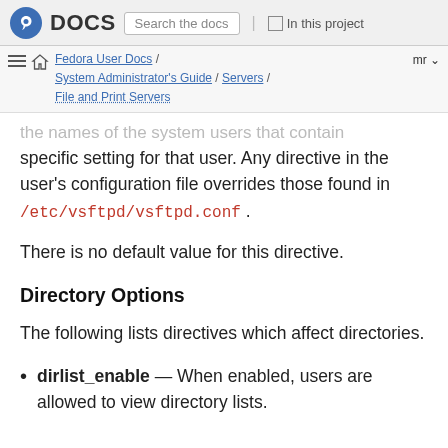Fedora DOCS | Search the docs | In this project
Fedora User Docs / System Administrator's Guide / Servers / File and Print Servers | mr
...the names of the system users that contain specific setting for that user. Any directive in the user's configuration file overrides those found in /etc/vsftpd/vsftpd.conf .
There is no default value for this directive.
Directory Options
The following lists directives which affect directories.
dirlist_enable — When enabled, users are allowed to view directory lists.